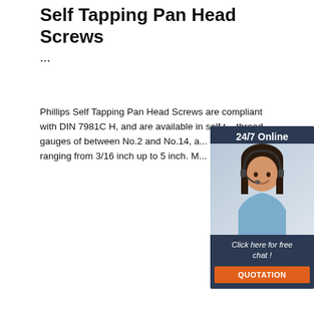Self Tapping Pan Head Screws
...
Phillips Self Tapping Pan Head Screws are compliant with DIN 7981C H, and are available in self tapping thread gauges of between No.2 and No.14, and lengths ranging from 3/16 inch up to 5 inch. More Information
[Figure (other): Get Price orange button]
[Figure (illustration): 24/7 Online customer service chat widget with a woman wearing a headset, dark navy background, 'Click here for free chat!' text, and orange QUOTATION button]
[Figure (photo): Bottom portion of page showing a light gray background with screws visible at the bottom left]